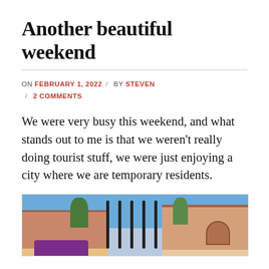Another beautiful weekend
ON FEBRUARY 1, 2022 / BY STEVEN / 2 COMMENTS
We were very busy this weekend, and what stands out to me is that we weren't really doing tourist stuff, we were just enjoying a city where we are temporary residents.
[Figure (photo): Outdoor photo showing colorful buildings with red/terracotta architecture, blue sky, green trees, iron fence bars in the foreground, and a purple sign at the bottom.]